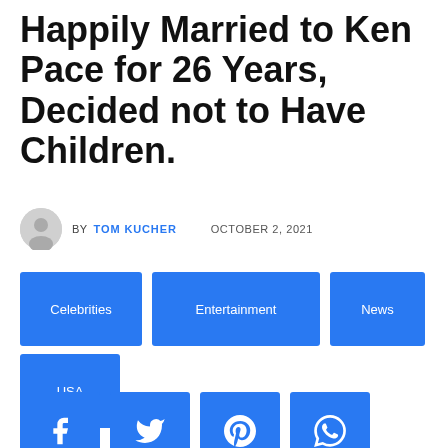Happily Married to Ken Pace for 26 Years, Decided not to Have Children.
BY TOM KUCHER   OCTOBER 2, 2021
Celebrities
Entertainment
News
USA